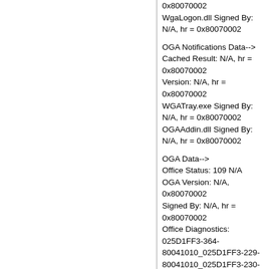0x80070002
WgaLogon.dll Signed By: N/A, hr = 0x80070002
OGA Notifications Data-->
Cached Result: N/A, hr = 0x80070002
Version: N/A, hr = 0x80070002
WGATray.exe Signed By: N/A, hr = 0x80070002
OGAAddin.dll Signed By: N/A, hr = 0x80070002
OGA Data-->
Office Status: 109 N/A
OGA Version: N/A, 0x80070002
Signed By: N/A, hr = 0x80070002
Office Diagnostics: 025D1FF3-364-80041010_025D1FF3-229-80041010_025D1FF3-230-1_025D1FF3-517-80040154_025D1FF3-237-80040154_025D1FF3-238-2_025D1FF3-244-80070002_025D1FF3-258-3
Browser Data-->
Proxy settings: N/A
User Agent: Mozilla/4.0 (compatible; MSIE 8.0; Win32)